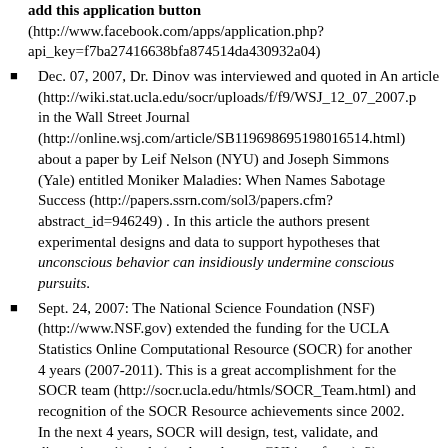add this application button (http://www.facebook.com/apps/application.php?api_key=f7ba27416638bfa874514da430932a04)
Dec. 07, 2007, Dr. Dinov was interviewed and quoted in An article (http://wiki.stat.ucla.edu/socr/uploads/f/f9/WSJ_12_07_2007.pd) in the Wall Street Journal (http://online.wsj.com/article/SB119698695198016514.html) about a paper by Leif Nelson (NYU) and Joseph Simmons (Yale) entitled Moniker Maladies: When Names Sabotage Success (http://papers.ssrn.com/sol3/papers.cfm?abstract_id=946249) . In this article the authors present experimental designs and data to support hypotheses that unconscious behavior can insidiously undermine conscious pursuits.
Sept. 24, 2007: The National Science Foundation (NSF) (http://www.NSF.gov) extended the funding for the UCLA Statistics Online Computational Resource (SOCR) for another 4 years (2007-2011). This is a great accomplishment for the SOCR team (http://socr.ucla.edu/htmls/SOCR_Team.html) and recognition of the SOCR Resource achievements since 2002. In the next 4 years, SOCR will design, test, validate, and disseminate 1) tools (applets, demos, GUI interfaces), 2) educational materials (activities, class notes, tutorials), and 3) resources (Statistics Online Computational Resource Wiki, more listing and documents). More information is available...